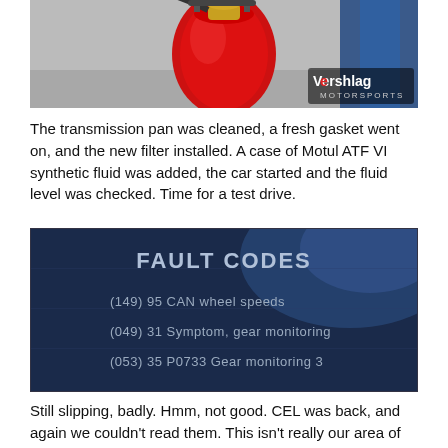[Figure (photo): Close-up photo of a red fire extinguisher or similar red mechanical component, with Vershlag Motorsports logo in top-right corner]
The transmission pan was cleaned, a fresh gasket went on, and the new filter installed. A case of Motul ATF VI synthetic fluid was added, the car started and the fluid level was checked. Time for a test drive.
[Figure (photo): Photo of a diagnostic screen showing FAULT CODES: (149) 95 CAN wheel speeds, (049) 31 Symptom, gear monitoring, (053) 35 P0733 Gear monitoring 3]
Still slipping, badly. Hmm, not good. CEL was back, and again we couldn't read them. This isn't really our area of expertise, so we took